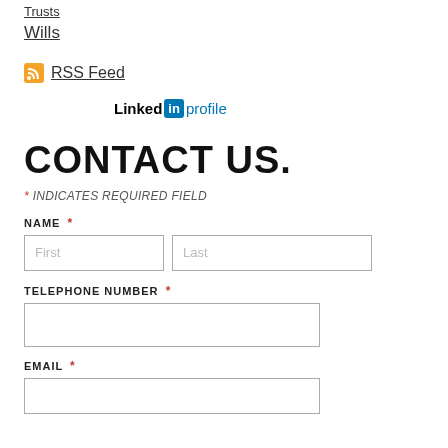Trusts
Wills
RSS Feed
[Figure (logo): LinkedIn profile logo with 'Linked' text, blue 'in' badge, and 'profile' link in blue]
CONTACT US.
* INDICATES REQUIRED FIELD
NAME *
TELEPHONE NUMBER *
EMAIL *